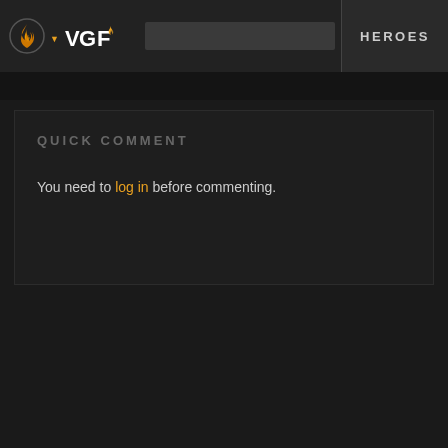VGF  HEROES
QUICK COMMENT
You need to log in before commenting.